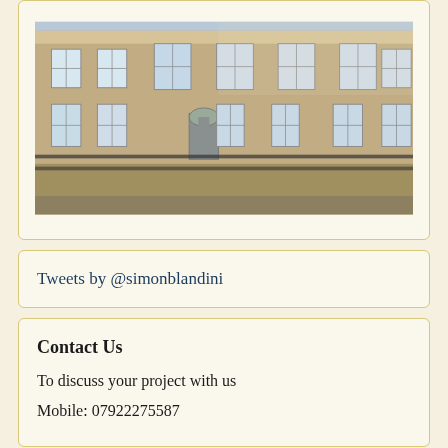[Figure (photo): Photograph of a Georgian stone building facade with multiple sash windows arranged in rows, classical architectural style, taken in bright daylight]
Tweets by @simonblandini
Contact Us
To discuss your project with us
Mobile: 07922275587